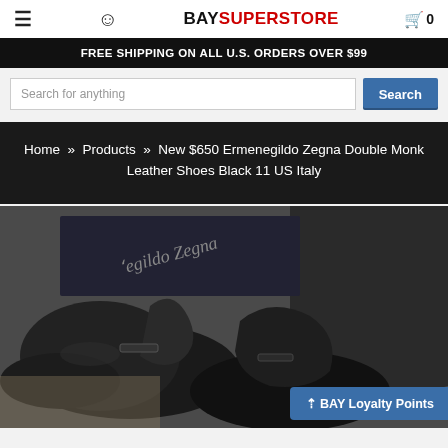☰  👤  BAYSUPERSTORE  🛒 0
FREE SHIPPING ON ALL U.S. ORDERS OVER $99
Search for anything
Home » Products » New $650 Ermenegildo Zegna Double Monk Leather Shoes Black 11 US Italy
[Figure (photo): Close-up photo of black Ermenegildo Zegna double monk leather shoes with branded box in background]
▲ BAY Loyalty Points